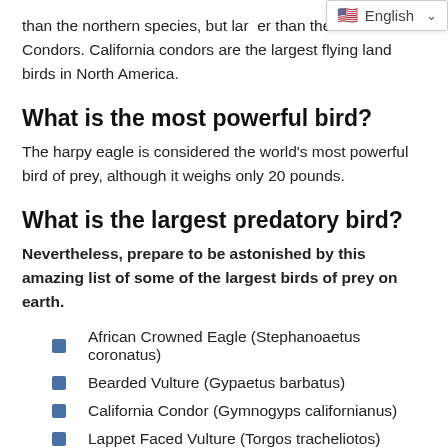than the northern species, but larger than the California Condors. California condors are the largest flying land birds in North America.
What is the most powerful bird?
The harpy eagle is considered the world's most powerful bird of prey, although it weighs only 20 pounds.
What is the largest predatory bird?
Nevertheless, prepare to be astonished by this amazing list of some of the largest birds of prey on earth.
African Crowned Eagle (Stephanoaetus coronatus)
Bearded Vulture (Gypaetus barbatus)
California Condor (Gymnogyps californianus)
Lappet Faced Vulture (Torgos tracheliotos)
Andean Condor (Vultur gryphus)